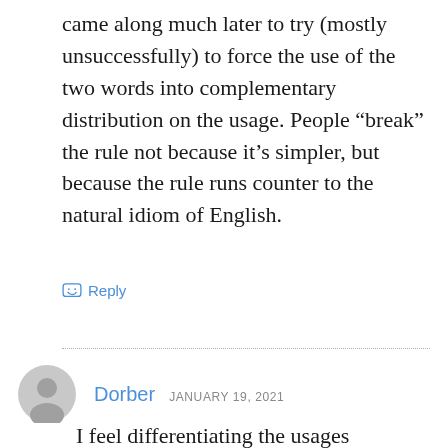came along much later to try (mostly unsuccessfully) to force the use of the two words into complementary distribution on the usage. People “break” the rule not because it’s simpler, but because the rule runs counter to the natural idiom of English.
Reply
Dorber  JANUARY 19, 2021
I feel differentiating the usages